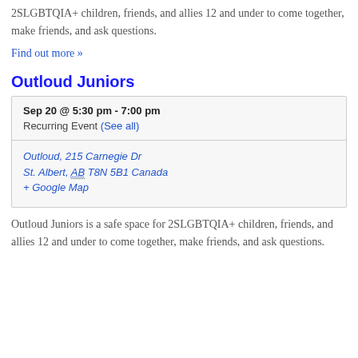2SLGBTQIA+ children, friends, and allies 12 and under to come together, make friends, and ask questions.
Find out more »
Outloud Juniors
| Sep 20 @ 5:30 pm - 7:00 pm | Recurring Event (See all) |
| Outloud, 215 Carnegie Dr
St. Albert, AB T8N 5B1 Canada
+ Google Map |  |
Outloud Juniors is a safe space for 2SLGBTQIA+ children, friends, and allies 12 and under to come together, make friends, and ask questions.